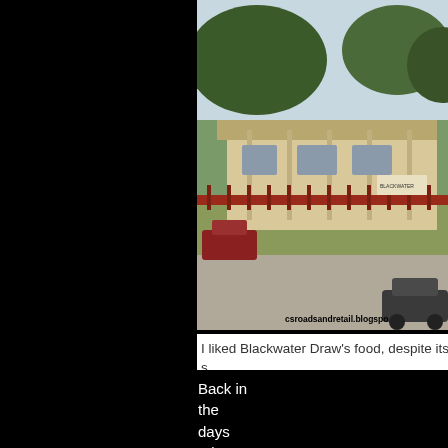[Figure (photo): Outdoor photo of Blackwater Draw restaurant building, a low single-story structure with a covered porch, red fence, large trees, and parked vehicles in a sunny parking lot. Watermark reads csroadsandretail.blogspo]
I liked Blackwater Draw's food, despite its s
Back in the days prior to the 1950s, professors lived in place of the modern-day Memorial Student Center and buildings were not demolished, however--they were lit and placed in other parts of town. The house on 303 B one of them. Of course, a lot of them still have been de Church and Boyett hasn't. I'm not sure of the house's h campus, but it has served as restaurants in recent yea